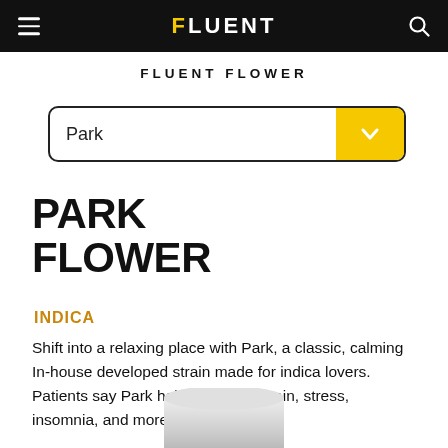FLUENT
FLUENT FLOWER
PARK FLOWER
INDICA
Shift into a relaxing place with Park, a classic, calming In-house developed strain made for indica lovers. Patients say Park helps to relieve pain, stress, insomnia, and more.
[Figure (photo): Bottom portion of a white cylindrical product container/jar]